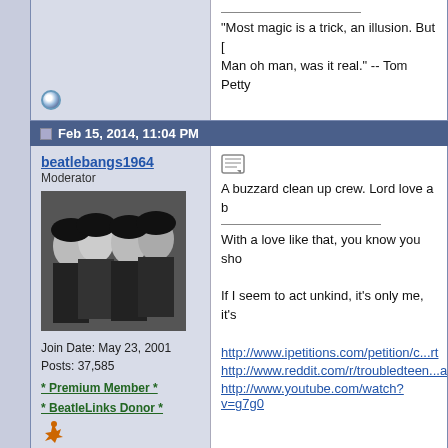"Most magic is a trick, an illusion. But [ Man oh man, was it real." -- Tom Petty
Feb 15, 2014, 11:04 PM
beatlebangs1964
Moderator
Join Date: May 23, 2001
Posts: 37,585
* Premium Member *
* BeatleLinks Donor *
A buzzard clean up crew. Lord love a b
With a love like that, you know you sho
If I seem to act unkind, it's only me, it's
http://www.ipetitions.com/petition/c...rt
http://www.reddit.com/r/troubledteen...a
http://www.youtube.com/watch?v=g7g0
Feb 19, 2014, 01:34 PM
Youngfab4fan